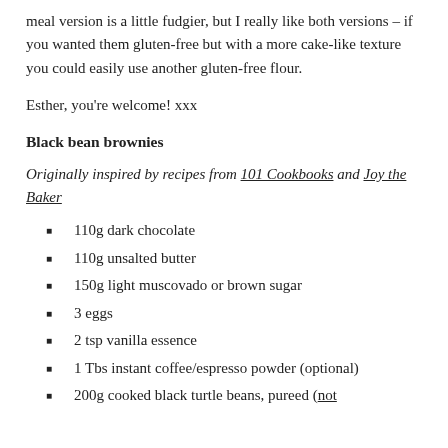meal version is a little fudgier, but I really like both versions – if you wanted them gluten-free but with a more cake-like texture you could easily use another gluten-free flour.
Esther, you're welcome! xxx
Black bean brownies
Originally inspired by recipes from 101 Cookbooks and Joy the Baker
110g dark chocolate
110g unsalted butter
150g light muscovado or brown sugar
3 eggs
2 tsp vanilla essence
1 Tbs instant coffee/espresso powder (optional)
200g cooked black turtle beans, pureed (not